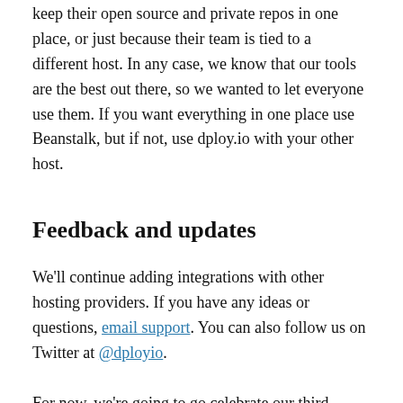keep their open source and private repos in one place, or just because their team is tied to a different host. In any case, we know that our tools are the best out there, so we wanted to let everyone use them. If you want everything in one place use Beanstalk, but if not, use dploy.io with your other host.
Feedback and updates
We'll continue adding integrations with other hosting providers. If you have any ideas or questions, email support. You can also follow us on Twitter at @dployio.
For now, we're going to go celebrate our third product! Congrats to the entire Wildbit team. This was a great launch.